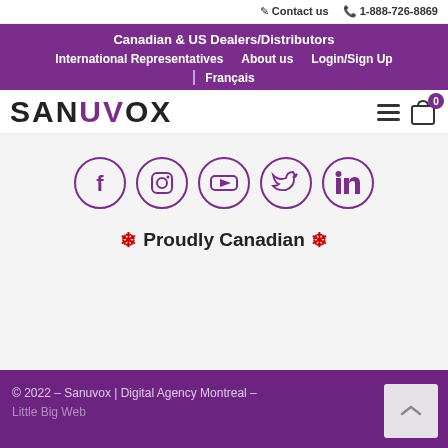✏ Contact us  ☎ 1-888-726-8869
Canadian & US Dealers/Distributors | International Representatives | About us | Login/Sign Up | Français
[Figure (logo): Sanuvox logo with hamburger menu and shopping cart icon showing 0 items]
[Figure (infographic): Five social media icons in purple circles: Facebook, Instagram, YouTube, Twitter, LinkedIn]
🍁 Proudly Canadian 🍁
© 2022 - Sanuvox | Digital Agency Montreal - Little Big Web